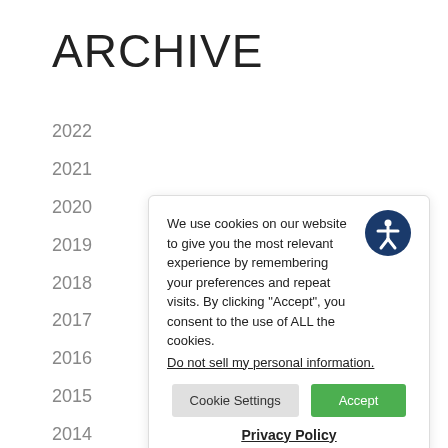ARCHIVE
2022
2021
2020
2019
2018
2017
2016
2015
2014
We use cookies on our website to give you the most relevant experience by remembering your preferences and repeat visits. By clicking “Accept”, you consent to the use of ALL the cookies.
Do not sell my personal information.
Cookie Settings
Accept
Privacy Policy